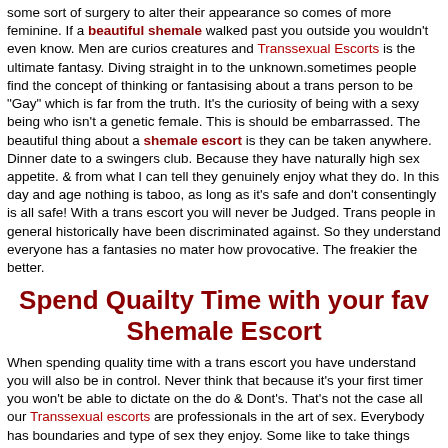some sort of surgery to alter their appearance so comes of more feminine. If a beautiful shemale walked past you outside you wouldn't even know. Men are curios creatures and Transsexual Escorts is the ultimate fantasy. Diving straight in to the unknown.sometimes people find the concept of thinking or fantasising about a trans person to be "Gay" which is far from the truth. It's the curiosity of being with a sexy being who isn't a genetic female. This is should be embarrassed. The beautiful thing about a shemale escort is they can be taken anywhere. Dinner date to a swingers club. Because they have naturally high sex appetite. & from what I can tell they genuinely enjoy what they do. In this day and age nothing is taboo, as long as it's safe and don't consentingly is all safe! With a trans escort you will never be Judged. Trans people in general historically have been discriminated against. So they understand everyone has a fantasies no mater how provocative. The freakier the better.
Spend Quailty Time with your fav Shemale Escort
When spending quality time with a trans escort you have understand you will also be in control. Never think that because it's your first timer you won't be able to dictate on the do & Dont's. That's not the case all our Transsexual escorts are professionals in the art of sex. Everybody has boundaries and type of sex they enjoy. Some like to take things slowly enjoy the moment make it last forever, some like it rough. Others love to role play, some like the idea of slowly being teased till they realise there with a trans shemale. All this you will discuss before the